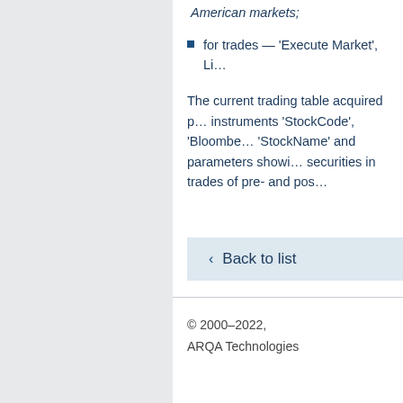American markets;
for trades — 'Execute Market', Li…
The current trading table acquired parameters for instruments 'StockCode', 'Bloomberg', 'StockName' and parameters showing securities in trades of pre- and post-…
< Back to list
© 2000–2022, ARQA Technologies